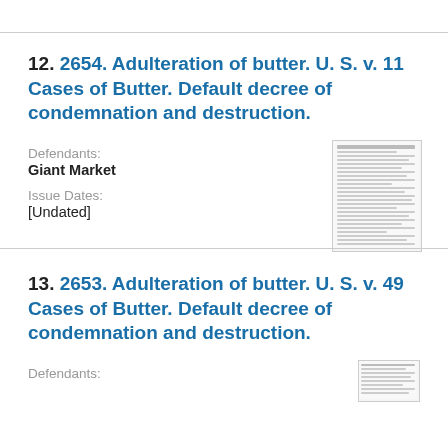12. 2654. Adulteration of butter. U. S. v. 11 Cases of Butter. Default decree of condemnation and destruction.
Defendants:
Giant Market
Issue Dates:
[Undated]
[Figure (other): Thumbnail image of a legal document page]
13. 2653. Adulteration of butter. U. S. v. 49 Cases of Butter. Default decree of condemnation and destruction.
Defendants:
[Figure (other): Thumbnail image of a legal document page]